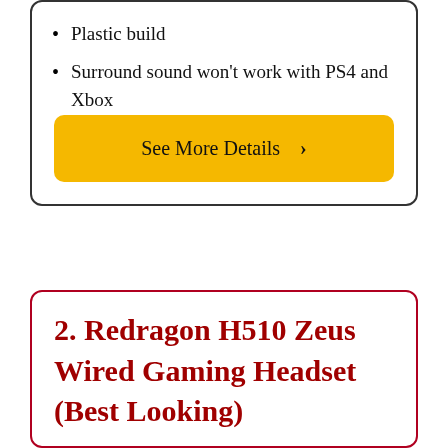Plastic build
Surround sound won't work with PS4 and Xbox
See More Details ›
2. Redragon H510 Zeus Wired Gaming Headset (Best Looking)